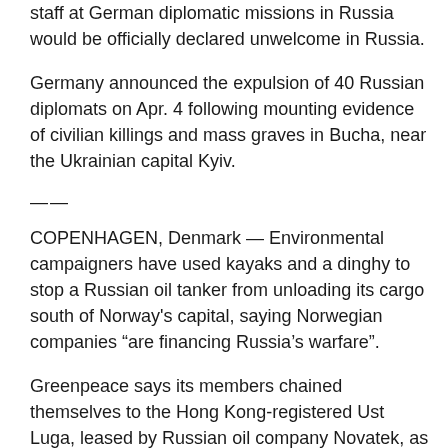staff at German diplomatic missions in Russia would be officially declared unwelcome in Russia.
Germany announced the expulsion of 40 Russian diplomats on Apr. 4 following mounting evidence of civilian killings and mass graves in Bucha, near the Ukrainian capital Kyiv.
——
COPENHAGEN, Denmark — Environmental campaigners have used kayaks and a dinghy to stop a Russian oil tanker from unloading its cargo south of Norway's capital, saying Norwegian companies “are financing Russia’s warfare”.
Greenpeace says its members chained themselves to the Hong Kong-registered Ust Luga, leased by Russian oil company Novatek, as it arrived at its destination, an Esso's terminal near Toensberg.
There are at least 25,000...